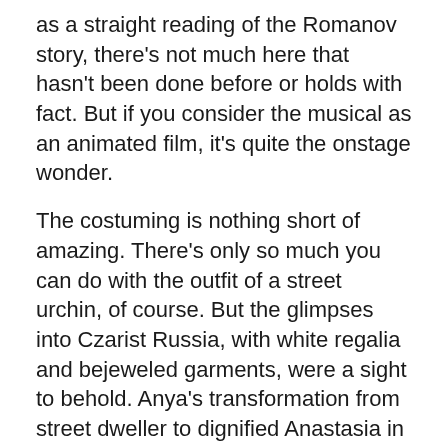as a straight reading of the Romanov story, there's not much here that hasn't been done before or holds with fact. But if you consider the musical as an animated film, it's quite the onstage wonder.
The costuming is nothing short of amazing. There's only so much you can do with the outfit of a street urchin, of course. But the glimpses into Czarist Russia, with white regalia and bejeweled garments, were a sight to behold. Anya's transformation from street dweller to dignified Anastasia in her ball gown is remarkable, and done in a matter of moments. This is, at its heart, a princess story, and our princess looks the part.
Additionally, the set pieces and innovative uses of the full-stage video board bolster the production value as much as any song. Alexander Dodge earned an Outer Critics nomination for scenic design for the 2017 Broadway production and it's clear why. The set pieces transitioned well to the Walton Arts Center stage, and their adaptability and the seamless directorial style